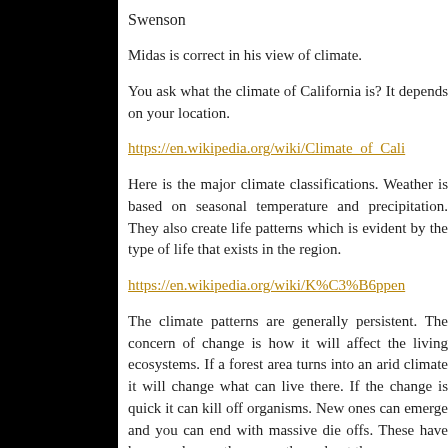Swenson
Midas is correct in his view of climate.
You ask what the climate of California is? It depends on your location.
https://en.wikipedia.org/wiki/Climate_of_Cali...
Here is the major climate classifications. Weather is based on seasonal temperature and precipitation. They also create life patterns which is evident by the type of life that exists in the region.
https://en.wikipedia.org/wiki/K%C3%B6ppen...
The climate patterns are generally persistent. The concern of change is how it will affect the living ecosystems. If a forest area turns into an arid climate it will change what can live there. If the change is quick it can kill off organisms. New ones can emerge and you can end with massive die offs. These have happened more than once throughout the...